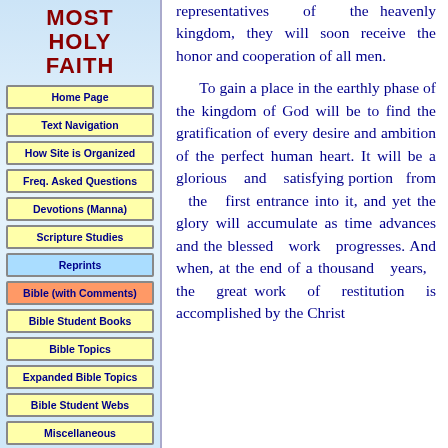MOST HOLY FAITH
Home Page
Text Navigation
How Site is Organized
Freq. Asked Questions
Devotions (Manna)
Scripture Studies
Reprints
Bible (with Comments)
Bible Student Books
Bible Topics
Expanded Bible Topics
Bible Student Webs
Miscellaneous
representatives of the heavenly kingdom, they will soon receive the honor and cooperation of all men.
To gain a place in the earthly phase of the kingdom of God will be to find the gratification of every desire and ambition of the perfect human heart. It will be a glorious and satisfying portion from the first entrance into it, and yet the glory will accumulate as time advances and the blessed work progresses. And when, at the end of a thousand years, the great work of restitution is accomplished by the Christ